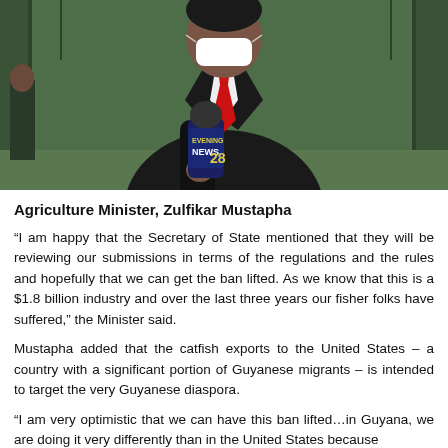[Figure (photo): A man wearing a white face mask, dark suit jacket, and red tie, holding a microphone branded 'Evening News 28'. He appears to be giving an interview.]
Agriculture Minister, Zulfikar Mustapha
“I am happy that the Secretary of State mentioned that they will be reviewing our submissions in terms of the regulations and the rules and hopefully that we can get the ban lifted. As we know that this is a $1.8 billion industry and over the last three years our fisher folks have suffered,” the Minister said.
Mustapha added that the catfish exports to the United States – a country with a significant portion of Guyanese migrants – is intended to target the very Guyanese diaspora.
“I am very optimistic that we can have this ban lifted…in Guyana, we are doing it very differently than in the United States because